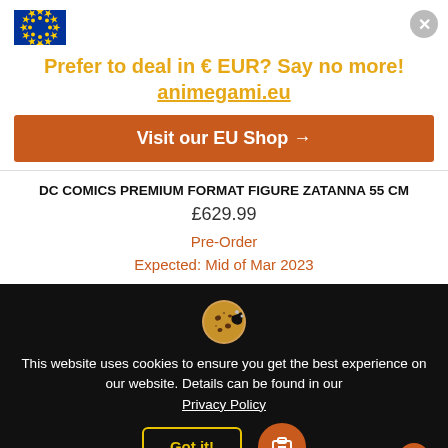[Figure (logo): EU flag logo — blue rectangle with circle of yellow stars]
Prefer to deal in € EUR? Say no more! animegami.eu
Visit our EU Shop →
DC COMICS PREMIUM FORMAT FIGURE ZATANNA 55 CM
£629.99
Pre-Order
Expected: Mid of Mar 2023
[Figure (illustration): Cookie emoji icon]
This website uses cookies to ensure you get the best experience on our website. Details can be found in our Privacy Policy
Got it!